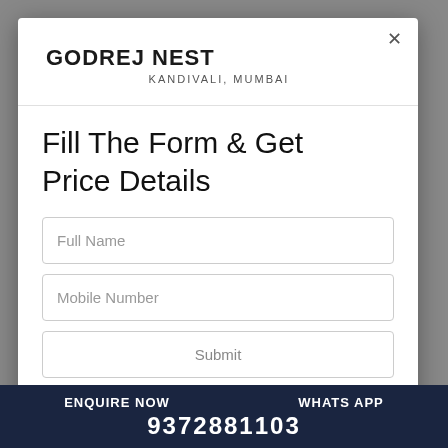GODREJ NEST
KANDIVALI, MUMBAI
Fill The Form & Get Price Details
Full Name
Mobile Number
Submit
ENQUIRE NOW   WHATS APP
9372881103